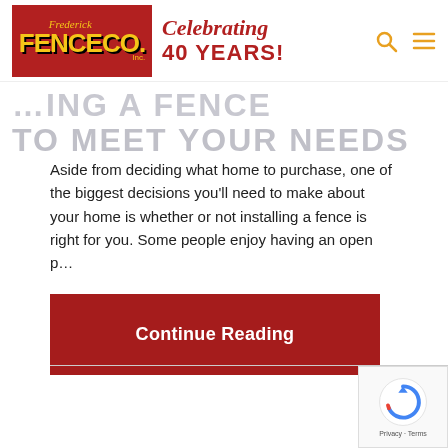[Figure (logo): Frederick Fence Co. Inc. logo — red background with yellow text, next to 'Celebrating 40 YEARS!' in red italic/bold]
…ING A FENCE TO MEET YOUR NEEDS
Aside from deciding what home to purchase, one of the biggest decisions you'll need to make about your home is whether or not installing a fence is right for you. Some people enjoy having an open p…
Continue Reading
[Figure (logo): Google reCAPTCHA badge with blue/red logo and Privacy - Terms text]